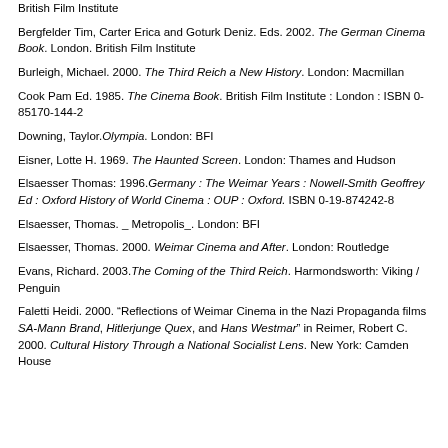British Film Institute
Bergfelder Tim, Carter Erica and Goturk Deniz. Eds. 2002. The German Cinema Book. London. British Film Institute
Burleigh, Michael. 2000. The Third Reich a New History. London: Macmillan
Cook Pam Ed. 1985. The Cinema Book. British Film Institute : London : ISBN 0-85170-144-2
Downing, Taylor. Olympia. London: BFI
Eisner, Lotte H. 1969. The Haunted Screen. London: Thames and Hudson
Elsaesser Thomas: 1996. Germany : The Weimar Years : Nowell-Smith Geoffrey Ed : Oxford History of World Cinema : OUP : Oxford. ISBN 0-19-874242-8
Elsaesser, Thomas. _ Metropolis_. London: BFI
Elsaesser, Thomas. 2000. Weimar Cinema and After. London: Routledge
Evans, Richard. 2003. The Coming of the Third Reich. Harmondsworth: Viking / Penguin
Faletti Heidi. 2000. "Reflections of Weimar Cinema in the Nazi Propaganda films SA-Mann Brand, Hitlerjunge Quex, and Hans Westmar" in Reimer, Robert C. 2000. Cultural History Through a National Socialist Lens. New York: Camden House